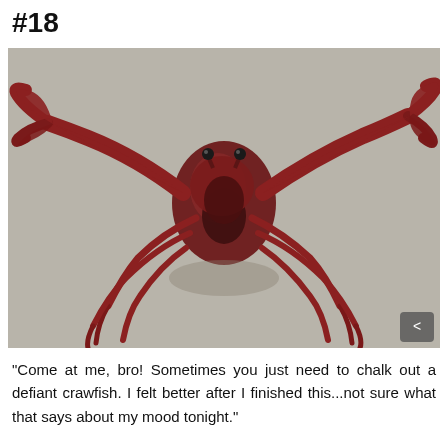#18
[Figure (photo): A red/dark-red crab (or crawfish) photographed from the front on a sandy surface, with claws raised outward in a defiant pose. The crab has prominent eyes and large claws spread wide. The image appears to be a chalk drawing or highly realistic artwork.]
"Come at me, bro! Sometimes you just need to chalk out a defiant crawfish. I felt better after I finished this...not sure what that says about my mood tonight."